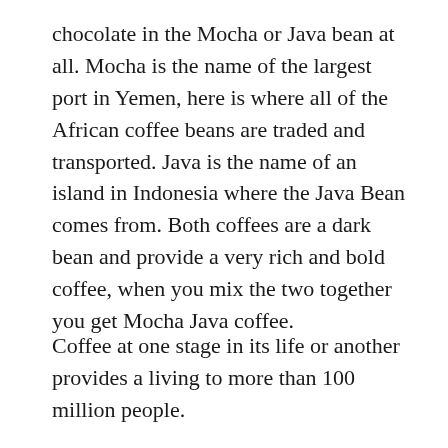chocolate in the Mocha or Java bean at all. Mocha is the name of the largest port in Yemen, here is where all of the African coffee beans are traded and transported. Java is the name of an island in Indonesia where the Java Bean comes from. Both coffees are a dark bean and provide a very rich and bold coffee, when you mix the two together you get Mocha Java coffee.
Coffee at one stage in its life or another provides a living to more than 100 million people.